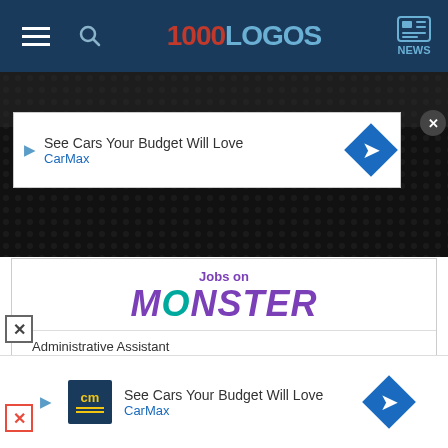[Figure (screenshot): 1000Logos website navigation bar with hamburger menu, search icon, 1000LOGOS logo in red and blue, and NEWS icon]
[Figure (screenshot): CarMax advertisement banner: See Cars Your Budget Will Love, CarMax, with play button and blue diamond arrow icon]
[Figure (screenshot): Dark video/image area with textured black background]
[Figure (screenshot): Jobs on Monster widget box with Monster logo in purple and teal]
Administrative Assistant
Xtreme Solutions, Atlanta, GA
Executive Assistant BEI
Burwell Enterprises, Inc., Sioux Falls, SD
[Figure (screenshot): CarMax advertisement banner at bottom: See Cars Your Budget Will Love, CarMax, with CM logo and blue diamond arrow icon]